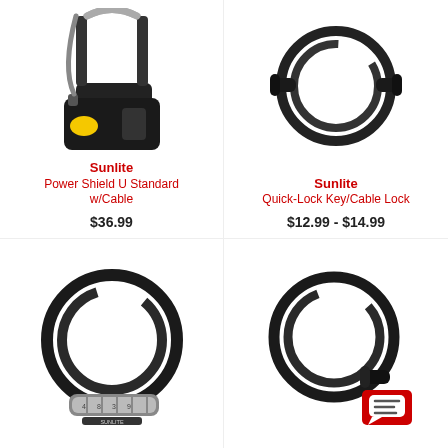[Figure (photo): Sunlite Power Shield U Standard bicycle lock with cable - U-shaped shackle lock with yellow accent and grey cable]
Sunlite
Power Shield U Standard w/Cable
$36.99
[Figure (photo): Sunlite Quick-Lock Key/Cable Lock - coiled black cable lock]
Sunlite
Quick-Lock Key/Cable Lock
$12.99 - $14.99
[Figure (photo): Black combination cable lock coiled, with number dial combination]
[Figure (photo): Black cable lock coiled in circle with chat bubble/message icon badge in bottom right]